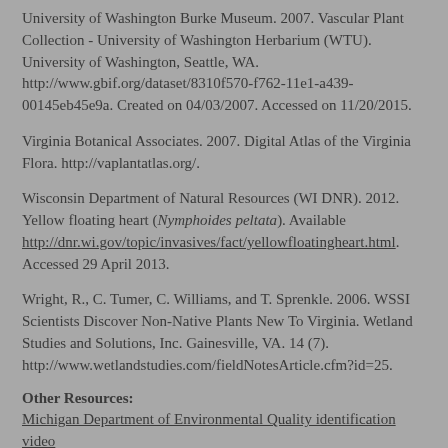University of Washington Burke Museum. 2007. Vascular Plant Collection - University of Washington Herbarium (WTU). University of Washington, Seattle, WA. http://www.gbif.org/dataset/8310f570-f762-11e1-a439-00145eb45e9a. Created on 04/03/2007. Accessed on 11/20/2015.
Virginia Botanical Associates. 2007. Digital Atlas of the Virginia Flora. http://vaplantatlas.org/.
Wisconsin Department of Natural Resources (WI DNR). 2012. Yellow floating heart (Nymphoides peltata). Available http://dnr.wi.gov/topic/invasives/fact/yellowfloatingheart.html. Accessed 29 April 2013.
Wright, R., C. Tumer, C. Williams, and T. Sprenkle. 2006. WSSI Scientists Discover Non-Native Plants New To Virginia. Wetland Studies and Solutions, Inc. Gainesville, VA. 14 (7). http://www.wetlandstudies.com/fieldNotesArticle.cfm?id=25.
Other Resources:
Michigan Department of Environmental Quality identification video
Global Invasive Species Database